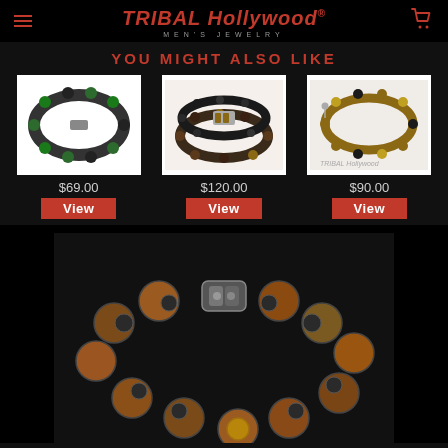TRIBAL Hollywood MEN'S JEWELRY
YOU MIGHT ALSO LIKE
[Figure (photo): Beaded bracelet with green and black beads]
$69.00
View
[Figure (photo): Stacked dark beaded bracelets with wood accents]
$120.00
View
[Figure (photo): Beaded bracelet with brown/gold beads, TRIBAL Hollywood watermark]
$90.00
View
[Figure (photo): Close-up of large brown and copper faceted bead bracelet with silver clasp]